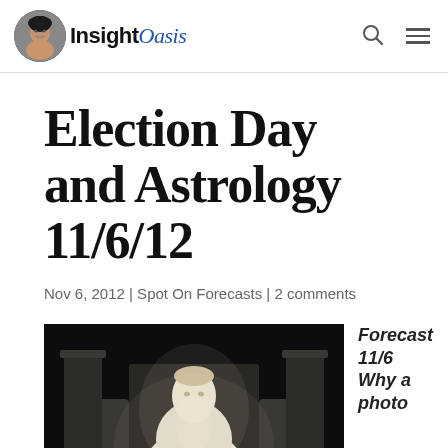Insight Oasis
Election Day and Astrology 11/6/12
Nov 6, 2012 | Spot On Forecasts | 2 comments
[Figure (photo): Photo of the Lincoln Memorial statue at night, dramatically lit against a dark background. Abraham Lincoln seated on his throne.]
Forecast 11/6 Why a photo